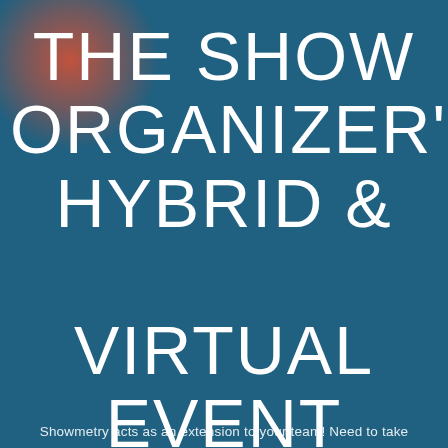THE SHOW ORGANIZER'S HYBRID & VIRTUAL EVENT PLATFORM
Showmetry acts as an extension to your team! Need to take